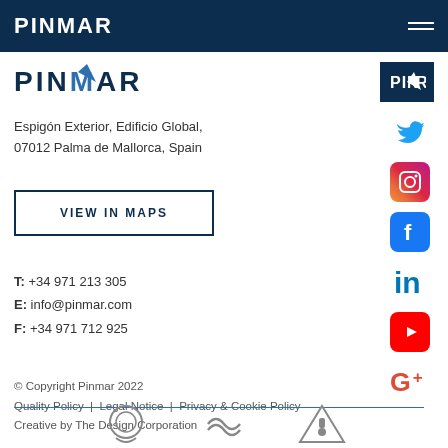PINMAR
[Figure (logo): PINMAR logo with star in blue on dark navy background]
Espigón Exterior, Edificio Global, 07012 Palma de Mallorca, Spain
VIEW IN MAPS
T: +34 971 213 305
E: info@pinmar.com
F: +34 971 712 925
© Copyright Pinmar 2022
Quality Policy | Legal Notice | Privacy & Cookie Policy
Creative by The Design Corporation
[Figure (other): Three circular certification/accreditation icons at bottom of page]